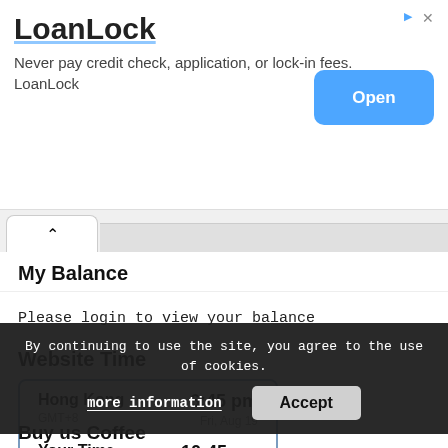[Figure (screenshot): LoanLock advertisement banner with title, description text, and an Open button]
Please login to view your balance
My Balance
Website Time
| Location | Time | Date |
| --- | --- | --- |
| Hong Kong GMT+8 | 6:45 pm | Fri, Aug 19 |
| Your Time GMT+0 | 10:45 am | Fri, Aug 19 |
By continuing to use the site, you agree to the use of cookies.
more information
Accept
Buy us Coffee